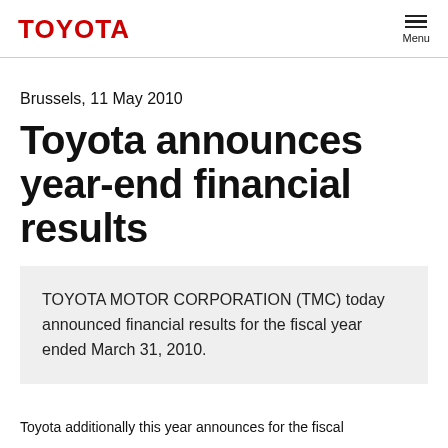TOYOTA | Menu
Brussels, 11 May 2010
Toyota announces year-end financial results
TOYOTA MOTOR CORPORATION (TMC) today announced financial results for the fiscal year ended March 31, 2010.
Toyota additionally this year announces for the fiscal...